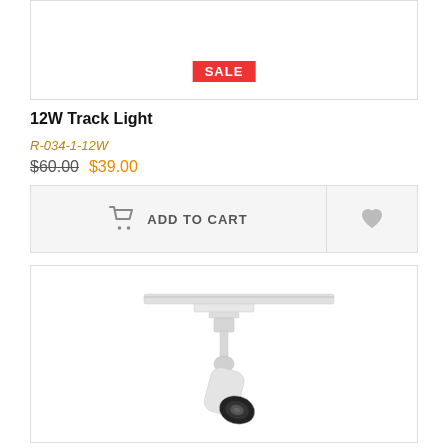[Figure (photo): Top portion of a product card with SALE badge on white background]
12W Track Light
R-034-1-12W
$60.00 $39.00
ADD TO CART
[Figure (photo): White 12W track light mounted on a ceiling rail, cylindrical spotlight head angled downward, black interior lens, product photo on white background]